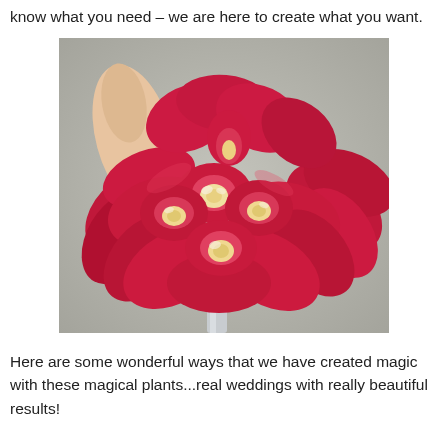know what you need – we are here to create what you want.
[Figure (photo): A hand holding a bouquet of large red cymbidium orchids with white and yellow centers, photographed against a grey background.]
Here are some wonderful ways that we have created magic with these magical plants...real weddings with really beautiful results!